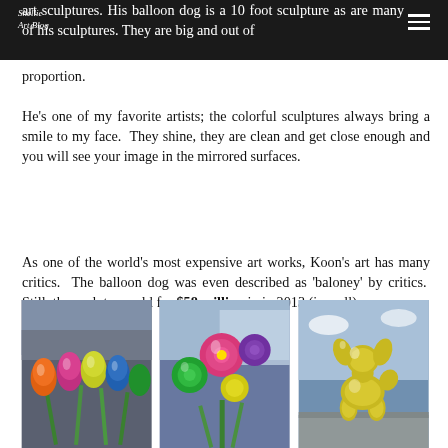art sculptures. His balloon dog is a 10 foot sculpture as are many of his sculptures. They are big and out of proportion.
He’s one of my favorite artists; the colorful sculptures always bring a smile to my face. They shine, they are clean and get close enough and you will see your image in the mirrored surfaces.
As one of the world’s most expensive art works, Koon’s art has many critics. The balloon dog was even described as ‘baloney’ by critics. Still, the sculpture sold for $58 million in in 2013 (i recall).
[Figure (photo): Three photos of Jeff Koons sculptures: colorful metallic tulip sculptures, colorful metallic flower sculptures, and a gold/yellow balloon dog sculpture outdoors.]